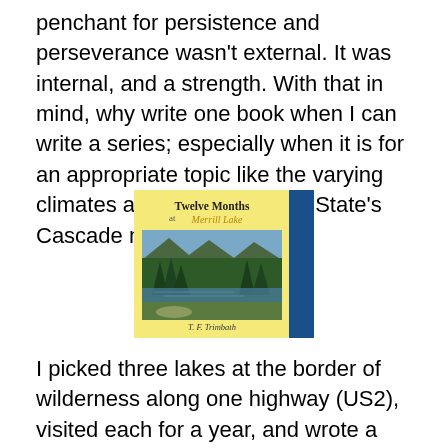penchant for persistence and perseverance wasn't external. It was internal, and a strength. With that in mind, why write one book when I can write a series; especially when it is for an appropriate topic like the varying climates across Washington State's Cascade mountains.
[Figure (photo): Book cover of 'Twelve Months at Merrill Lake' by T. F. Trimbath, showing a mountain lake surrounded by evergreen forest, with a yellow cover and blue spine.]
I picked three lakes at the border of wilderness along one highway (US2), visited each for a year, and wrote a book about each. Barclay Lake is basically in temperate rain forest and nearest suburbia. Lake Valhalla is at the crest and beyond our climate, and is the most challenging.